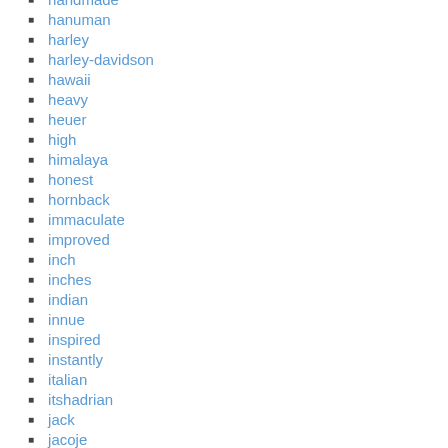handmade
hanuman
harley
harley-davidson
hawaii
heavy
heuer
high
himalaya
honest
hornback
immaculate
improved
inch
inches
indian
innue
inspired
instantly
italian
itshadrian
jack
jacoje